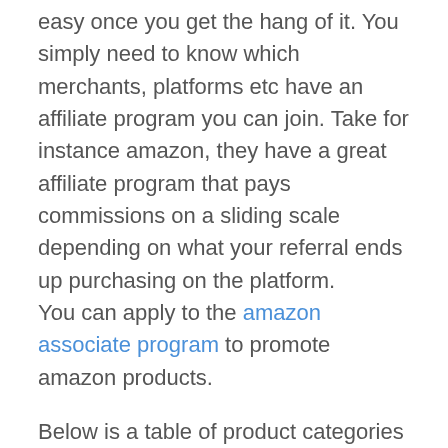easy once you get the hang of it. You simply need to know which merchants, platforms etc have an affiliate program you can join. Take for instance amazon, they have a great affiliate program that pays commissions on a sliding scale depending on what your referral ends up purchasing on the platform. You can apply to the amazon associate program to promote amazon products.
Below is a table of product categories that pay the highest commission rate through Amazon associate program.
| Product Category | Fixed Commission |
| --- | --- |